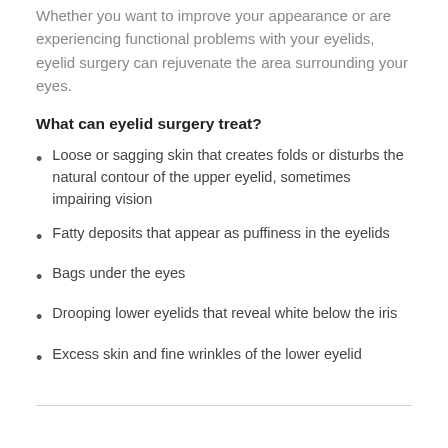Whether you want to improve your appearance or are experiencing functional problems with your eyelids, eyelid surgery can rejuvenate the area surrounding your eyes.
What can eyelid surgery treat?
Loose or sagging skin that creates folds or disturbs the natural contour of the upper eyelid, sometimes impairing vision
Fatty deposits that appear as puffiness in the eyelids
Bags under the eyes
Drooping lower eyelids that reveal white below the iris
Excess skin and fine wrinkles of the lower eyelid